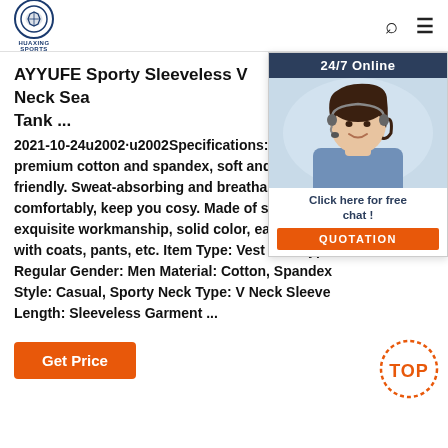HUAXING SPORTS
[Figure (photo): Customer service representative with headset, smiling, with 24/7 Online chat widget overlay]
AYYUFE Sporty Sleeveless V Neck Sea Tank ...
2021-10-24u2002·u2002Specifications: premium cotton and spandex, soft and friendly. Sweat-absorbing and breathable, comfortably, keep you cosy. Made of exquisite workmanship, solid color, easy with coats, pants, etc. Item Type: Vest Size Type: Regular Gender: Men Material: Cotton, Spandex Style: Casual, Sporty Neck Type: V Neck Sleeve Length: Sleeveless Garment ...
Get Price